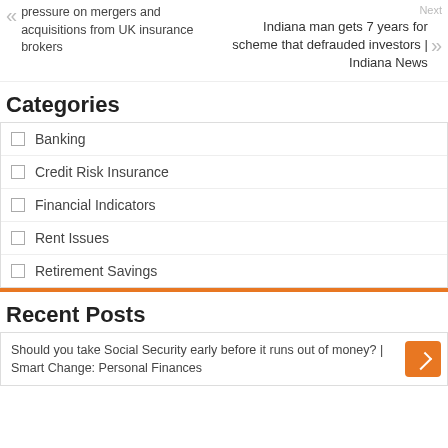pressure on mergers and acquisitions from UK insurance brokers
Next
Indiana man gets 7 years for scheme that defrauded investors | Indiana News
Categories
Banking
Credit Risk Insurance
Financial Indicators
Rent Issues
Retirement Savings
Recent Posts
Should you take Social Security early before it runs out of money? | Smart Change: Personal Finances